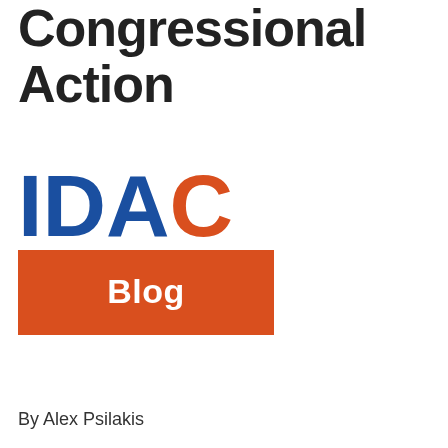Congressional Action
[Figure (logo): IDAC Blog logo. 'IDAC' in large bold letters with I, D, A in dark blue and C in orange-red. Below the letters is an orange-red rectangle containing the word 'Blog' in white bold text.]
By Alex Psilakis